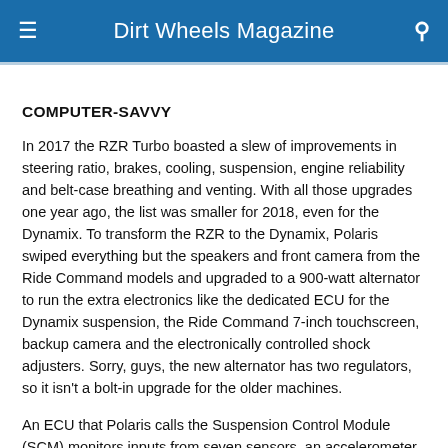Dirt Wheels Magazine
COMPUTER-SAVVY
In 2017 the RZR Turbo boasted a slew of improvements in steering ratio, brakes, cooling, suspension, engine reliability and belt-case breathing and venting. With all those upgrades one year ago, the list was smaller for 2018, even for the Dynamix. To transform the RZR to the Dynamix, Polaris swiped everything but the speakers and front camera from the Ride Command models and upgraded to a 900-watt alternator to run the extra electronics like the dedicated ECU for the Dynamix suspension, the Ride Command 7-inch touchscreen, backup camera and the electronically controlled shock adjusters. Sorry, guys, the new alternator has two regulators, so it isn't a bolt-in upgrade for the older machines.
An ECU that Polaris calls the Suspension Control Module (SCM) monitors inputs from seven sensors, an accelerometer, a gyro and GPS input 200 times a second to know how to electronically...